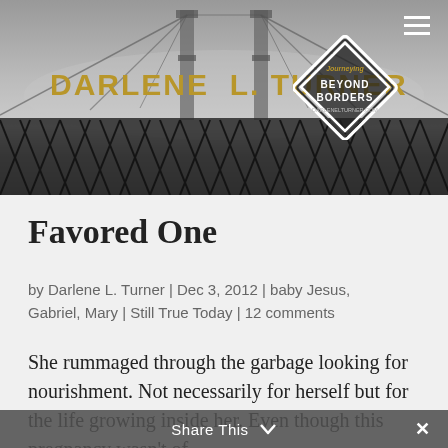[Figure (photo): Website header banner showing Golden Gate Bridge in fog with chain-link fence in foreground, black and white photo. Contains site title 'DARLENE L. TURNER' in gold text, a diamond-shaped logo reading 'BEYOND BORDERS darlenelturner.com', and a hamburger menu icon in the top right.]
Favored One
by Darlene L. Turner | Dec 3, 2012 | baby Jesus, Gabriel, Mary | Still True Today | 12 comments
She rummaged through the garbage looking for nourishment. Not necessarily for herself but for the life growing inside her. Even though this pregnancy wasn't of